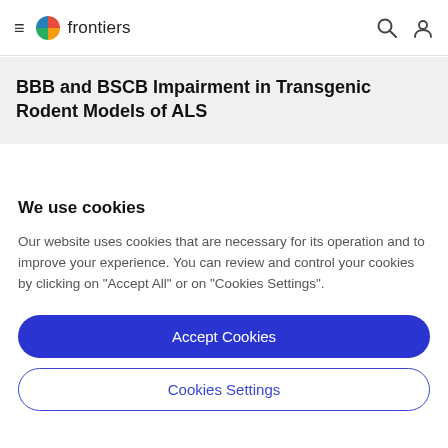frontiers
BBB and BSCB Impairment in Transgenic Rodent Models of ALS
We use cookies
Our website uses cookies that are necessary for its operation and to improve your experience. You can review and control your cookies by clicking on "Accept All" or on "Cookies Settings".
Accept Cookies
Cookies Settings